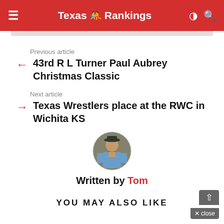Texas Rankings
Previous article
43rd R L Turner Paul Aubrey Christmas Classic
Next article
Texas Wrestlers place at the RWC in Wichita KS
[Figure (photo): Circular author avatar photo of Tom]
Written by Tom
YOU MAY ALSO LIKE